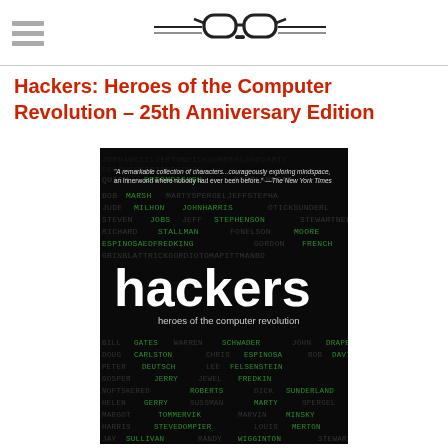[hamburger menu icon] [glasses/book logo]
Hackers: Heroes of the Computer Revolution – 25th Anniversary Edition
[Figure (photo): Book cover of 'Hackers: Heroes of the Computer Revolution' showing a dark background with a word search of famous hacker/tech names in green and white text, large white 'hackers' title text, subtitle 'heroes of the computer revolution', and a pull quote from The New York Times at the top.]